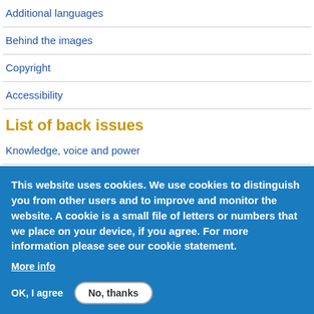Additional languages
Behind the images
Copyright
Accessibility
List of back issues
Knowledge, voice and power
Climate crisis and displacement: from commitment to action
This website uses cookies. We use cookies to distinguish you from other users and to improve and monitor the website. A cookie is a small file of letters or numbers that we place on your device, if you agree. For more information please see our cookie statement.
More info
OK, I agree
No, thanks